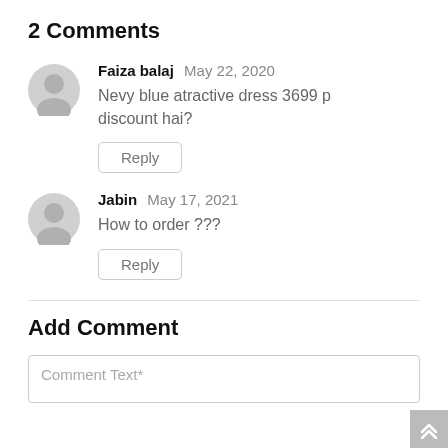2 Comments
Faiza balaj May 22, 2020
Nevy blue atractive dress 3699 p discount hai?
Reply
Jabin May 17, 2021
How to order ???
Reply
Add Comment
Comment Text*